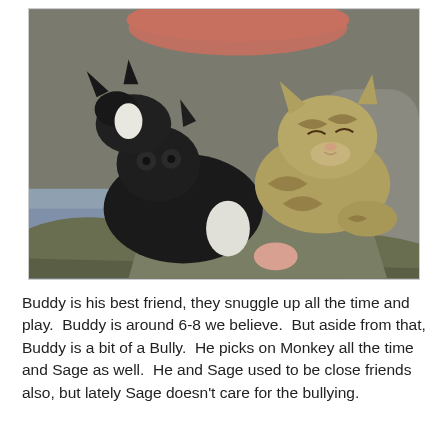[Figure (photo): A photo of multiple cats snuggled together on a couch or lap. Several cats — black and tabby — are curled up together on grey and olive-colored fabric, with a pink/salmon pillow visible in the background.]
Buddy is his best friend, they snuggle up all the time and play.  Buddy is around 6-8 we believe.  But aside from that, Buddy is a bit of a Bully.  He picks on Monkey all the time and Sage as well.  He and Sage used to be close friends also, but lately Sage doesn't care for the bullying.